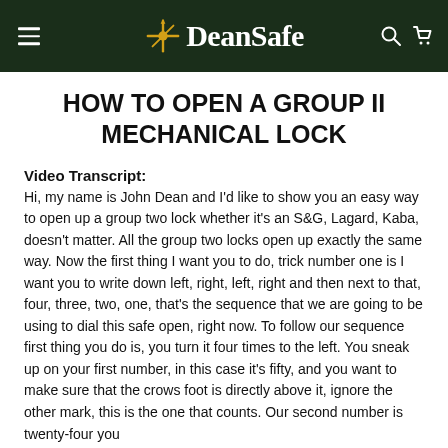DeanSafe
HOW TO OPEN A GROUP II MECHANICAL LOCK
Video Transcript:
Hi, my name is John Dean and I'd like to show you an easy way to open up a group two lock whether it's an S&G, Lagard, Kaba, doesn't matter. All the group two locks open up exactly the same way. Now the first thing I want you to do, trick number one is I want you to write down left, right, left, right and then next to that, four, three, two, one, that's the sequence that we are going to be using to dial this safe open, right now. To follow our sequence first thing you do is, you turn it four times to the left. You sneak up on your first number, in this case it's fifty, and you want to make sure that the crows foot is directly above it, ignore the other mark, this is the one that counts. Our second number is twenty-four you